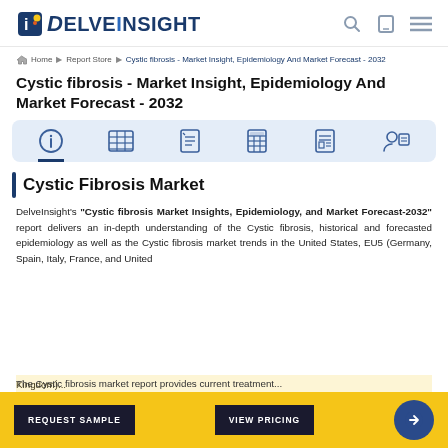DelveInsight
Home > Report Store > Cystic fibrosis - Market Insight, Epidemiology And Market Forecast - 2032
Cystic fibrosis - Market Insight, Epidemiology And Market Forecast - 2032
[Figure (other): Tab navigation bar with 6 icons: info, table/grid, checklist, data-grid, newspaper/report, person-with-note icons on a light blue background, first tab active with dark underline]
Cystic Fibrosis Market
DelveInsight's "Cystic fibrosis Market Insights, Epidemiology, and Market Forecast-2032" report delivers an in-depth understanding of the Cystic fibrosis, historical and forecasted epidemiology as well as the Cystic fibrosis market trends in the United States, EU5 (Germany, Spain, Italy, France, and United Kingdom)...
The Cystic fibrosis market report provides current treatment...